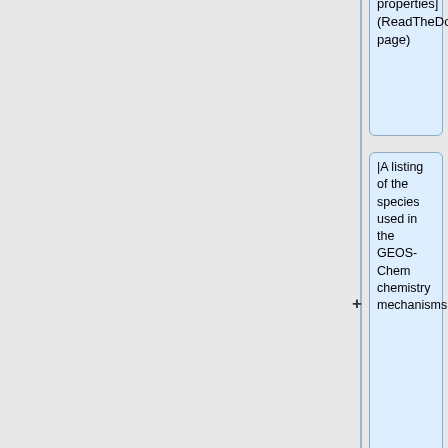|A listing of the species used in the GEOS-Chem chemistry mechanisms
<!-- Emissions: Links -->
|-valign="top"
<td width="50%" valign="top">
|'''GEOS-Chem Guides'''
* [[HEMCO|HEMCO emissions component]]
|[[GEOS-Chem_overview#GEOS-Chem_Guides|GEOS-Chem...